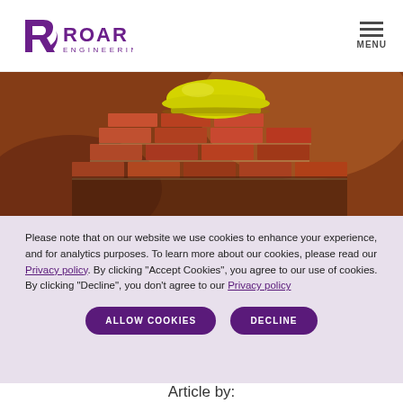ROAR ENGINEERING — MENU
[Figure (photo): Construction site photo showing stacked red/brown bricks with a yellow hard hat resting on top, warm bokeh background]
Please note that on our website we use cookies to enhance your experience, and for analytics purposes. To learn more about our cookies, please read our Privacy policy. By clicking "Accept Cookies", you agree to our use of cookies. By clicking "Decline", you don't agree to our Privacy policy
ALLOW COOKIES   DECLINE
Article by: